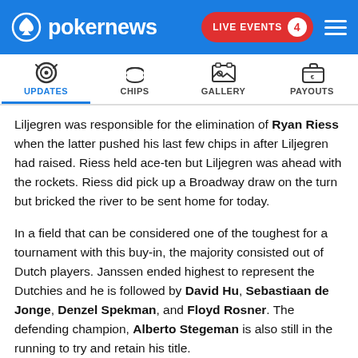pokernews — LIVE EVENTS 4
[Figure (screenshot): Navigation tabs: Updates (active), Chips, Gallery, Payouts with icons]
Liljegren was responsible for the elimination of Ryan Riess when the latter pushed his last few chips in after Liljegren had raised. Riess held ace-ten but Liljegren was ahead with the rockets. Riess did pick up a Broadway draw on the turn but bricked the river to be sent home for today.
In a field that can be considered one of the toughest for a tournament with this buy-in, the majority consisted out of Dutch players. Janssen ended highest to represent the Dutchies and he is followed by David Hu, Sebastiaan de Jonge, Denzel Spekman, and Floyd Rosner. The defending champion, Alberto Stegeman is also still in the running to try and retain his title.
But the Master Classics of Poker always attracts the crème-